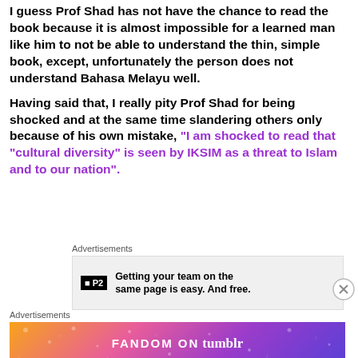I guess Prof Shad has not have the chance to read the book because it is almost impossible for a learned man like him to not be able to understand the thin, simple book, except, unfortunately the person does not understand Bahasa Melayu well.
Having said that, I really pity Prof Shad for being shocked and at the same time slandering others only because of his own mistake, “I am shocked to read that “cultural diversity” is seen by IKSIM as a threat to Islam and to our nation”.
[Figure (other): Advertisement banner for P2 showing text: Getting your team on the same page is easy. And free.]
[Figure (other): Advertisement banner for Fandom on Tumblr with colorful gradient background]